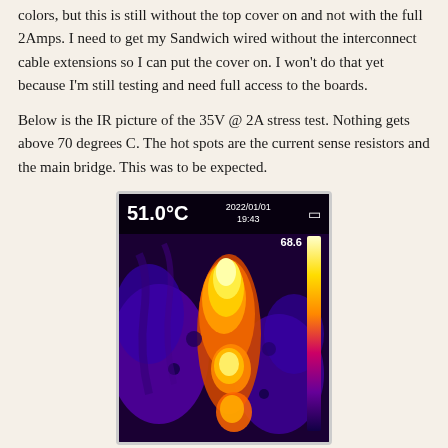colors, but this is still without the top cover on and not with the full 2Amps. I need to get my Sandwich wired without the interconnect cable extensions so I can put the cover on. I won't do that yet because I'm still testing and need full access to the boards.
Below is the IR picture of the 35V @ 2A stress test. Nothing gets above 70 degrees C. The hot spots are the current sense resistors and the main bridge. This was to be expected.
[Figure (photo): Infrared thermal image showing heat distribution of electronic components during 35V @ 2A stress test. Display reads 51.0°C with timestamp 2022/01/01 19:43. Color scale shows maximum of 68.6°C. Hot spots visible in yellow/white in center of image, surrounding areas in purple/blue indicating lower temperatures.]